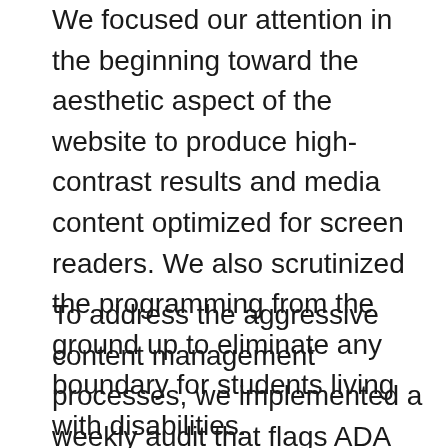We focused our attention in the beginning toward the aesthetic aspect of the website to produce high-contrast results and media content optimized for screen readers. We also scrutinized the programming from the ground up to eliminate any boundary for students living with disabilities.
To address the aggressive content management processes, we implemented a weekly audit that flags ADA compliance issues against overall benchmarks. This process identifies problems and itemizes these issues for a direct response from